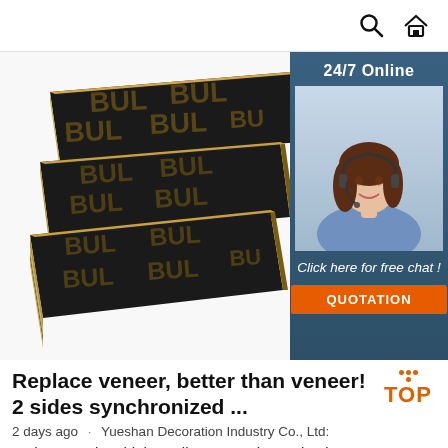Search | Home
[Figure (photo): Stack of black-faced plywood boards with wood grain edges and repeating text pattern on surface, with a 24/7 Online customer service badge showing a female agent wearing a headset, and a QUOTATION button]
Replace veneer, better than veneer! 2 sides synchronized ...
2 days ago · Yueshan Decoration Industry Co., Ltd:
Welcome to buy high-quality Decorative melamine